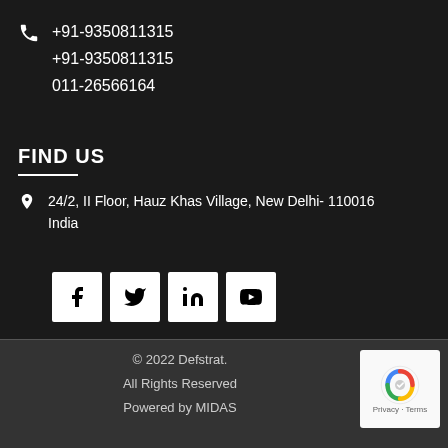+91-9350811315
+91-9350811315
011-26566164
FIND US
24/2, II Floor, Hauz Khas Village, New Delhi- 110016
India
[Figure (other): Social media icons: Facebook, Twitter, LinkedIn, YouTube]
© 2022 Defstrat.
All Rights Reserved
Powered by MIDAS